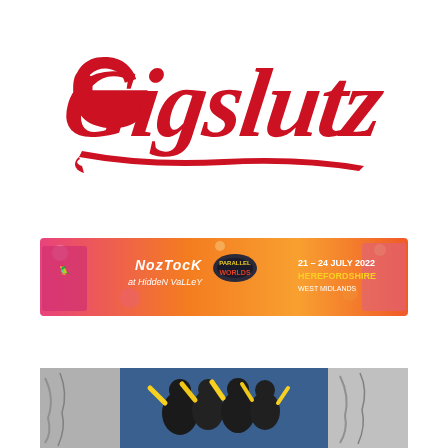[Figure (logo): Gigslutz logo in red cursive/script font with underline flourish on white background]
[Figure (illustration): Festival advertisement banner for Nozstock at Hidden Valley - Parallel Worlds, 21-24 July 2022, Herefordshire/West Midlands. Pink/orange gradient background with cartoon characters, flamingo, and festival branding.]
[Figure (photo): Black and white and color image showing animated/illustrated figures, appears to be cartoon band or music group with instruments, on blue and grey background.]